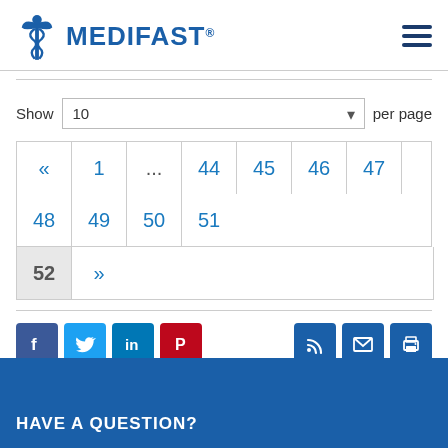MEDIFAST.
Show 10 per page
« 1 ... 44 45 46 47 48 49 50 51 52 »
[Figure (other): Social sharing icons: Facebook, Twitter, LinkedIn, Pinterest on the left; RSS, Email, Print on the right]
HAVE A QUESTION?